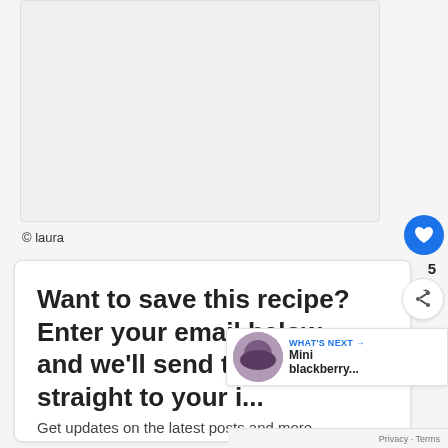[Figure (photo): Empty light gray image area (photo placeholder)]
© laura
Want to save this recipe? Enter your email below and we'll send the recipe straight to your i...
Get updates on the latest posts and more
WHAT'S NEXT → Mini blackberry...
Privacy · Terms